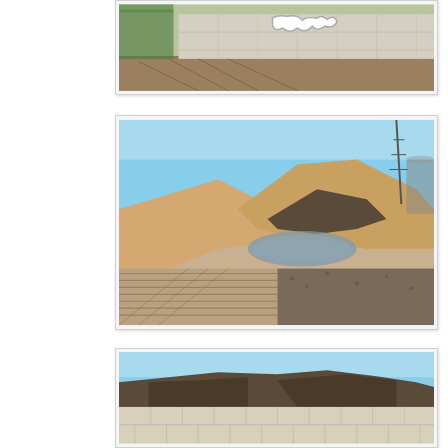[Figure (photo): Industrial area with a concrete block wall covered in graffiti, dirt ground with tire tracks, green fence structures visible on the left side]
[Figure (photo): Outdoor construction/industrial site with large mounds of sand and gravel, a water puddle reflection in the middle, corrugated drainage pipes in foreground, communication tower and industrial structures in background under blue sky]
[Figure (photo): Outdoor industrial storage area with piles of dark rubble/material behind large white concrete block retaining wall segments under blue sky]